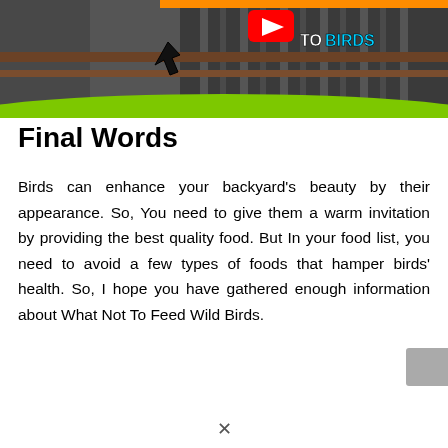[Figure (screenshot): YouTube thumbnail showing a bird near a fence with 'TO BIRDS' text in cyan on dark background, green wave at bottom, orange bar at top, and YouTube play button icon.]
Final Words
Birds can enhance your backyard's beauty by their appearance. So, You need to give them a warm invitation by providing the best quality food. But In your food list, you need to avoid a few types of foods that hamper birds' health. So, I hope you have gathered enough information about What Not To Feed Wild Birds.